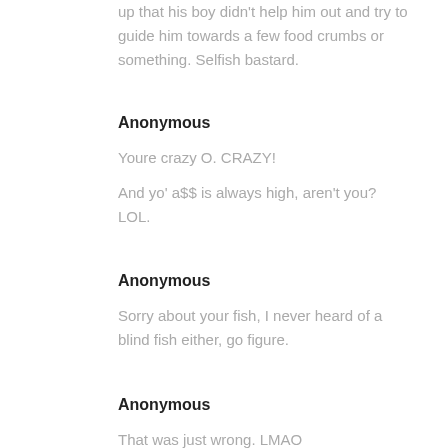up that his boy didn't help him out and try to guide him towards a few food crumbs or something. Selfish bastard.
Anonymous
Youre crazy O. CRAZY!
And yo' a$$ is always high, aren't you? LOL.
Anonymous
Sorry about your fish, I never heard of a blind fish either, go figure.
Anonymous
That was just wrong. LMAO